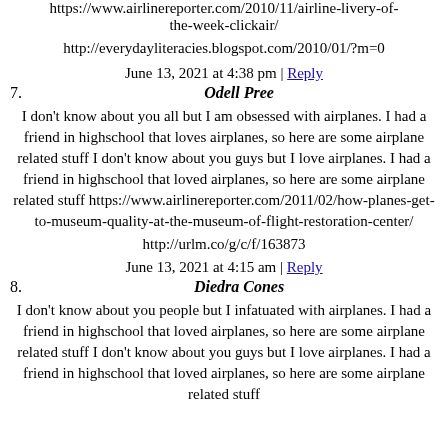https://www.airlinereporter.com/2010/11/airline-livery-of-the-week-clickair/
http://everydayliteracies.blogspot.com/2010/01/?m=0
June 13, 2021 at 4:38 pm | Reply
7. Odell Pree
I don't know about you all but I am obsessed with airplanes. I had a friend in highschool that loves airplanes, so here are some airplane related stuff I don't know about you guys but I love airplanes. I had a friend in highschool that loved airplanes, so here are some airplane related stuff https://www.airlinereporter.com/2011/02/how-planes-get-to-museum-quality-at-the-museum-of-flight-restoration-center/
http://urlm.co/g/c/f/163873
June 13, 2021 at 4:15 am | Reply
8. Diedra Cones
I don't know about you people but I infatuated with airplanes. I had a friend in highschool that loved airplanes, so here are some airplane related stuff I don't know about you guys but I love airplanes. I had a friend in highschool that loved airplanes, so here are some airplane related stuff